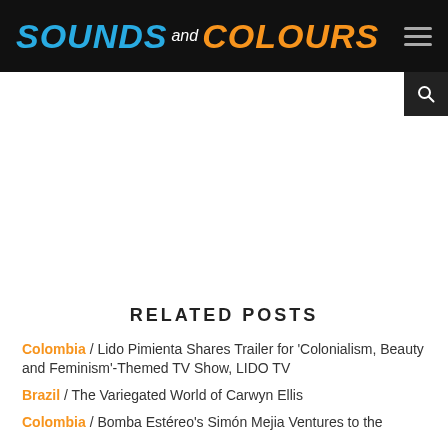SOUNDS and COLOURS
RELATED POSTS
Colombia / Lido Pimienta Shares Trailer for 'Colonialism, Beauty and Feminism'-Themed TV Show, LIDO TV
Brazil / The Variegated World of Carwyn Ellis
Colombia / Bomba Estéreo's Simón Mejia Ventures to the